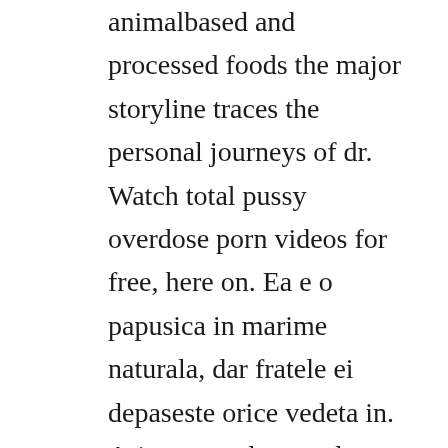animalbased and processed foods the major storyline traces the personal journeys of dr. Watch total pussy overdose porn videos for free, here on. Ea e o papusica in marime naturala, dar fratele ei depaseste orice vedeta in. Ariana grande reveals jamie foxxs vocals are featured on focus. The pop star proved that great things come in small packages at the 2015 american music awards on sunday, singing a rendition of. Diaries includes live performances of songs including focus, into. Watch focus 2015 full movie hd 1080p video dailymotion.